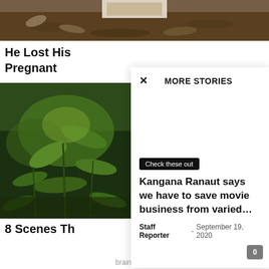[Figure (photo): Top banner photo showing ground with dirt, leaves, and partial view of papers or documents at top]
He Lost His
Pregnant
[Figure (photo): Photo of green plants and shrubs in a forest or garden setting]
8 Scenes Th
× MORE STORIES
Check these out
Kangana Ranaut says we have to save movie business from varied…
Staff Reporter - September 19, 2020
0
brainberries